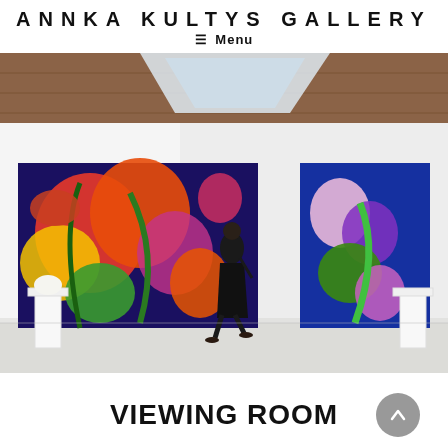ANNKA KULTYS GALLERY
≡ Menu
[Figure (photo): Interior of a white-walled gallery space with exposed brick ceiling. A person dressed in black walks past two large vivid floral paintings hung on the white walls. White pedestals with small sculptures are visible on the sides.]
VIEWING ROOM